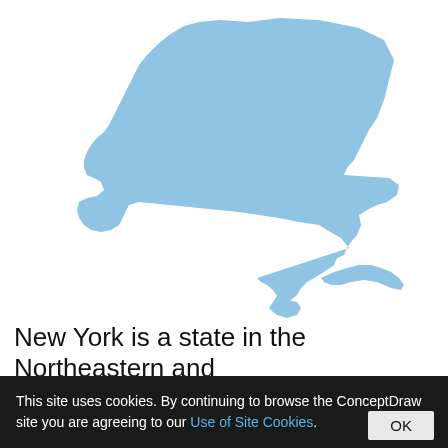[Figure (map): Light blue silhouette of the state of New York on a white background]
New York is a state in the Northeastern and
This site uses cookies. By continuing to browse the ConceptDraw site you are agreeing to our Use of Site Cookies.